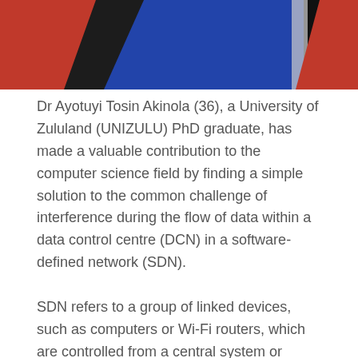[Figure (photo): Photograph of graduation gowns in red, black, and blue colors, cropped to show fabric/robes from the chest up.]
Dr Ayotuyi Tosin Akinola (36), a University of Zululand (UNIZULU) PhD graduate, has made a valuable contribution to the computer science field by finding a simple solution to the common challenge of interference during the flow of data within a data control centre (DCN) in a software-defined network (SDN).
SDN refers to a group of linked devices, such as computers or Wi-Fi routers, which are controlled from a central system or software application to simplify tasks such as programming and intelligence control, while also enhancing the speed at which such tasks are performed.
In his doctoral study, Nigerian-born Dr Akinola sought to test the efficiency of a solution to the current stability